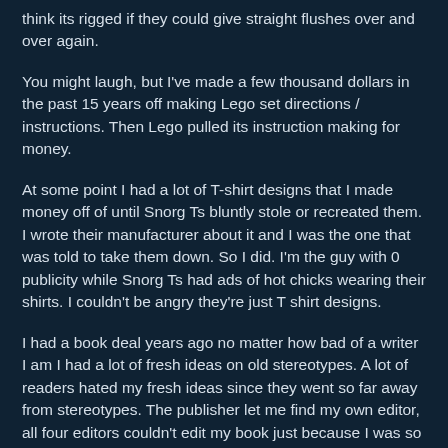think its rigged if they could give straight flushes over and over again.
You might laugh, but I've made a few thousand dollars in the past 15 years off making Lego set directions / instructions. Then Lego pulled its instruction making for money.
At some point I had a lot of T-shirt designs that I made money off of until Snorg Ts bluntly stole or recreated them. I wrote their manufacturer about it and I was the one that was told to take them down. So I did. I'm the guy with 0 publicity while Snorg Ts had ads of hot chicks wearing their shirts. I couldn't be angry they're just T shirt designs.
I had a book deal years ago no matter how bad of a writer I am I had a lot of fresh ideas on old stereotypes. A lot of readers hated my fresh ideas since they went so far away from stereotypes. The publisher let me find my own editor, all four editors couldn't edit my book just because I was so bad with it being my first book and didn't finish editing. The publisher was then bought out including my contract. They told me I needed to turn a 300 page paperback book into a 100 page book or else they wanted my advance back. They weren't even the